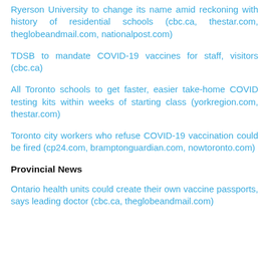Ryerson University to change its name amid reckoning with history of residential schools (cbc.ca, thestar.com, theglobeandmail.com, nationalpost.com)
TDSB to mandate COVID-19 vaccines for staff, visitors (cbc.ca)
All Toronto schools to get faster, easier take-home COVID testing kits within weeks of starting class (yorkregion.com, thestar.com)
Toronto city workers who refuse COVID-19 vaccination could be fired (cp24.com, bramptonguardian.com, nowtoronto.com)
Provincial News
Ontario health units could create their own vaccine passports, says leading doctor (cbc.ca, theglobeandmail.com)